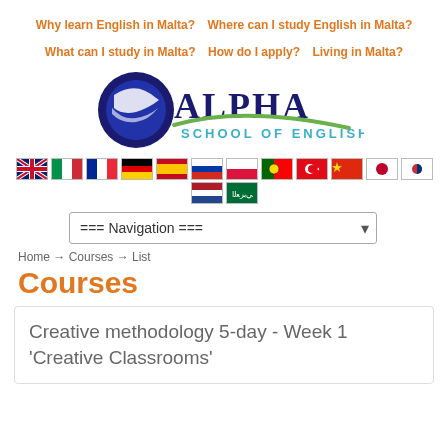Why learn English in Malta?  Where can I study English in Malta?  What can I study in Malta?  How do I apply?  Living in Malta?
[Figure (logo): Alpha School of English logo with blue and dark blue text and green swoosh]
[Figure (infographic): Row of country flag icons: UK, Italy, France, Germany, Spain, Russia, Poland, Portugal, Turkey, China, Japan, South Korea, Netherlands, Arabic]
[Figure (screenshot): Navigation dropdown selector showing === Navigation ===]
Home → Courses → List
Courses
Creative methodology 5-day - Week 1 'Creative Classrooms'